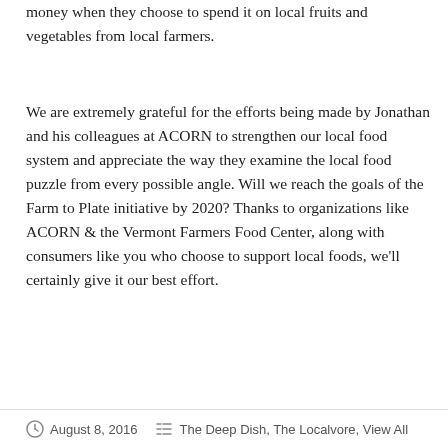money when they choose to spend it on local fruits and vegetables from local farmers.
We are extremely grateful for the efforts being made by Jonathan and his colleagues at ACORN to strengthen our local food system and appreciate the way they examine the local food puzzle from every possible angle. Will we reach the goals of the Farm to Plate initiative by 2020? Thanks to organizations like ACORN & the Vermont Farmers Food Center, along with consumers like you who choose to support local foods, we'll certainly give it our best effort.
August 8, 2016    The Deep Dish, The Localvore, View All